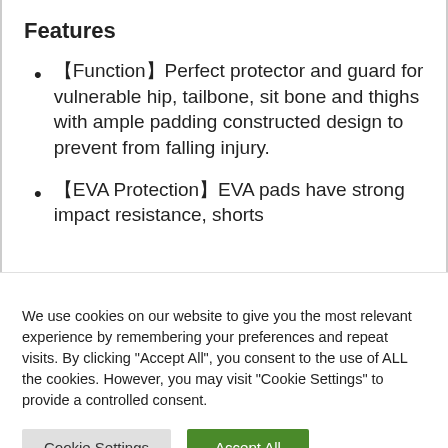Features
【Function】Perfect protector and guard for vulnerable hip, tailbone, sit bone and thighs with ample padding constructed design to prevent from falling injury.
【EVA Protection】EVA pads have strong impact resistance, shorts
We use cookies on our website to give you the most relevant experience by remembering your preferences and repeat visits. By clicking "Accept All", you consent to the use of ALL the cookies. However, you may visit "Cookie Settings" to provide a controlled consent.